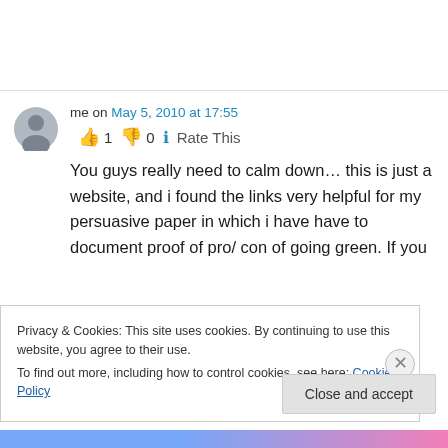me on May 5, 2010 at 17:55
👍 1 👎 0 ℹ Rate This
You guys really need to calm down… this is just a website, and i found the links very helpful for my persuasive paper in which i have have to document proof of pro/ con of going green. If you
Privacy & Cookies: This site uses cookies. By continuing to use this website, you agree to their use.
To find out more, including how to control cookies, see here: Cookie Policy
Close and accept